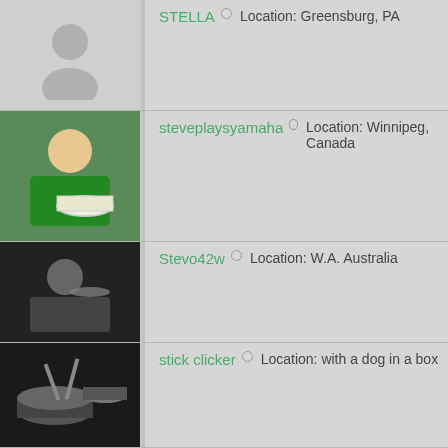STELLA · Location: Greensburg, PA
steveplaysyamaha · Location: Winnipeg, Canada
Stevo42w · Location: W.A. Australia
stick clicker · Location: with a dog in a box
Sticks4drums · Location: Ontario, Canada
Stix518 · Location: Northeastern USA
Stoney · Location: Currently residing in Grimsby
Strider · Location: Welland, Ontario, Canada